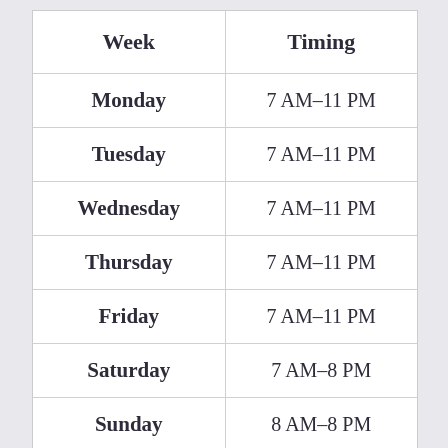| Week | Timing |
| --- | --- |
| Monday | 7 AM–11 PM |
| Tuesday | 7 AM–11 PM |
| Wednesday | 7 AM–11 PM |
| Thursday | 7 AM–11 PM |
| Friday | 7 AM–11 PM |
| Saturday | 7 AM–8 PM |
| Sunday | 8 AM–8 PM |